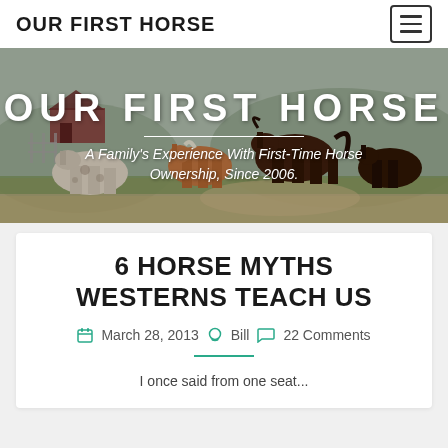OUR FIRST HORSE
[Figure (photo): Hero image showing a group of horses running in a field with a barn in the background. Overlaid white text reads 'OUR FIRST HORSE' and subtitle 'A Family's Experience With First-Time Horse Ownership, Since 2006.']
6 HORSE MYTHS WESTERNS TEACH US
March 28, 2013  Bill  22 Comments
I once said from one seat...